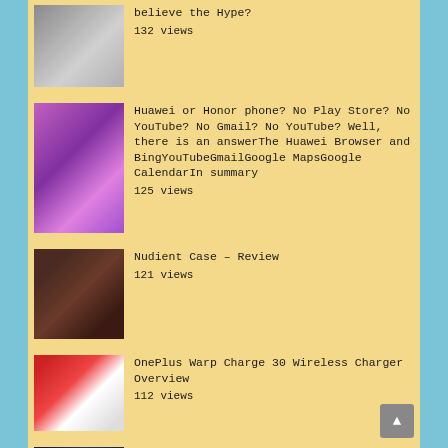believe the Hype? 132 views
Huawei or Honor phone? No Play Store? No YouTube? No Gmail? No YouTube? Well, there is an answerThe Huawei Browser and BingYouTubeGmailGoogle MapsGoogle CalendarIn summary 125 views
Nudient Case – Review 121 views
OnePlus Warp Charge 30 Wireless Charger Overview 112 views
Here's how to make money playing games on your phone 109 views